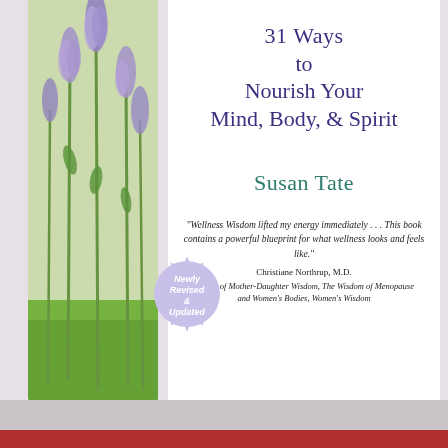[Figure (photo): Left column showing lavender/purple flowers with green stems against a blurred natural background, used as book cover art]
[Figure (infographic): Starburst badge reading 'Newly Revised & Updated' in white text on lavender/purple background]
31 Ways to Nourish Your Mind, Body, & Spirit
Susan Tate
"Wellness Wisdom lifted my energy immediately . . . This book contains a powerful blueprint for what wellness looks and feels like."
Christiane Northrup, M.D.
Author of Mother-Daughter Wisdom, The Wisdom of Menopause and Women's Bodies, Women's Wisdom